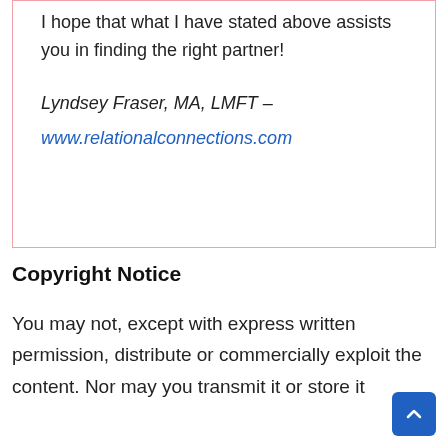I hope that what I have stated above assists you in finding the right partner!
Lyndsey Fraser, MA, LMFT –
www.relationalconnections.com
Copyright Notice
You may not, except with express written permission, distribute or commercially exploit the content. Nor may you transmit it or store it